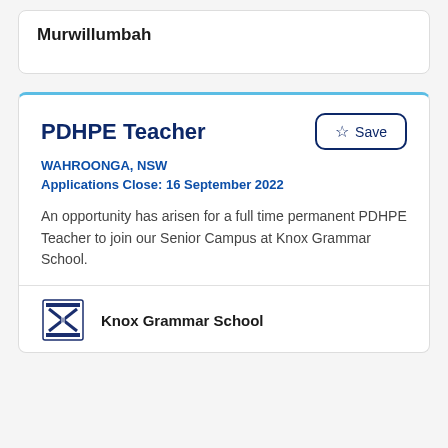Murwillumbah
PDHPE Teacher
WAHROONGA, NSW
Applications Close: 16 September 2022
An opportunity has arisen for a full time permanent PDHPE Teacher to join our Senior Campus at Knox Grammar School.
Knox Grammar School